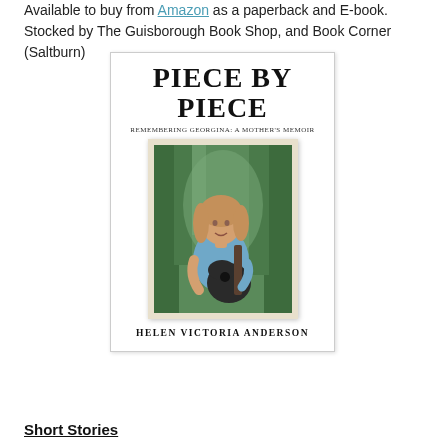Available to buy from Amazon as a paperback and E-book. Stocked by The Guisborough Book Shop, and Book Corner (Saltburn)
[Figure (photo): Book cover of 'Piece by Piece: Remembering Georgina: A Mother's Memoir' by Helen Victoria Anderson, showing a young woman playing guitar outdoors with trees in background, presented as a polaroid-style photo on the cover.]
Short Stories